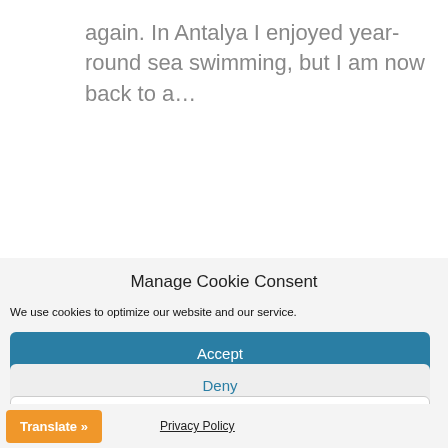again. In Antalya I enjoyed year-round sea swimming, but I am now back to a…
Manage Cookie Consent
We use cookies to optimize our website and our service.
Accept
Deny
Preferences
Translate »
Privacy Policy